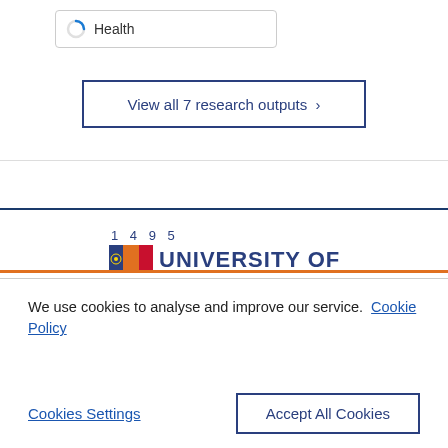[Figure (other): Health topic badge with circular loading icon and label 'Health']
View all 7 research outputs >
[Figure (logo): University logo with '1495' text, flag icon, and 'UNIVERSITY OF' text]
We use cookies to analyse and improve our service. Cookie Policy
Cookies Settings
Accept All Cookies